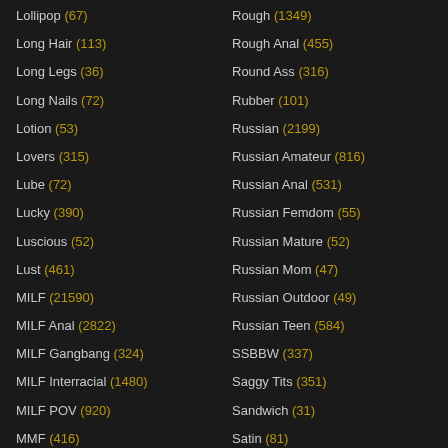Lollipop (67)
Long Hair (113)
Long Legs (36)
Long Nails (72)
Lotion (53)
Lovers (315)
Lube (72)
Lucky (390)
Luscious (52)
Lust (461)
MILF (21590)
MILF Anal (2822)
MILF Gangbang (324)
MILF Interracial (1480)
MILF POV (920)
MMF (416)
Rough (1349)
Rough Anal (455)
Round Ass (316)
Rubber (101)
Russian (2199)
Russian Amateur (816)
Russian Anal (531)
Russian Femdom (55)
Russian Mature (52)
Russian Mom (47)
Russian Outdoor (49)
Russian Teen (584)
SSBBW (337)
Saggy Tits (351)
Sandwich (31)
Satin (81)